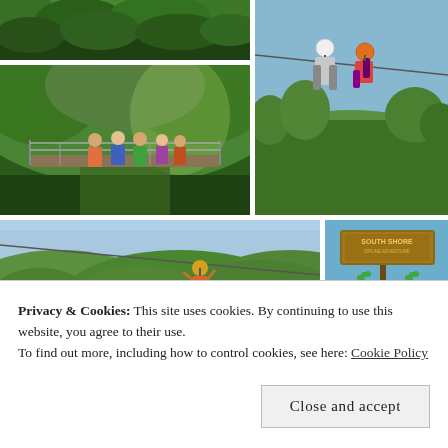[Figure (photo): Forest canopy / jungle treetop view from above]
[Figure (photo): Two people on a zipline, one wearing white helmet and one wearing orange helmet, green hillside and ocean in background]
[Figure (photo): Group of tourists standing on a suspension bridge in a rainforest]
[Figure (photo): Person on a zipline over green hills with ocean view in background]
[Figure (photo): South Shore zipline sign with large decorative frog statue, blue sky]
Privacy & Cookies: This site uses cookies. By continuing to use this website, you agree to their use.
To find out more, including how to control cookies, see here: Cookie Policy
Close and accept